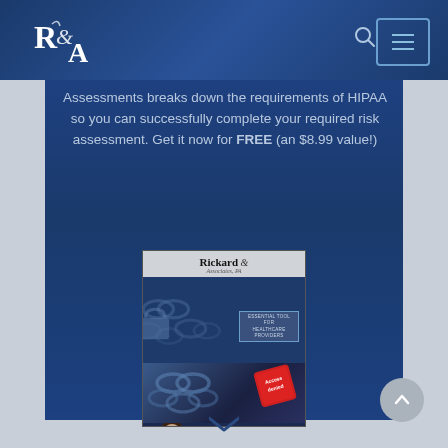[Figure (logo): R&A (Rickard & Associates) logo in white on dark blue header]
Assessments breaks down the requirements of HIPAA so you can successfully complete your required risk assessment. Get it now for FREE (an $8.99 value!)
[Figure (photo): Book cover: Easy Guide to HIPAA Risk Assessments by Lori-Ann Rickard, J.D. and Lauren Sullivan, J.D., published by Rickard & Associates. Shows chains and 'Access Denied' keyboard key imagery.]